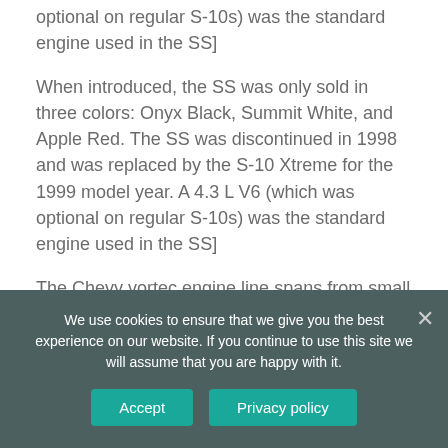optional on regular S-10s) was the standard engine used in the SS]
When introduced, the SS was only sold in three colors: Onyx Black, Summit White, and Apple Red. The SS was discontinued in 1998 and was replaced by the S-10 Xtreme for the 1999 model year. A 4.3 L V6 (which was optional on regular S-10s) was the standard engine used in the SS]
The Chevy vortec engine line spans from small block V6's to big block V8's and also includes
We use cookies to ensure that we give you the best experience on our website. If you continue to use this site we will assume that you are happy with it.